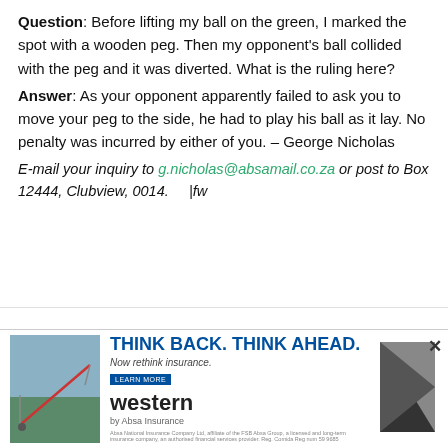Question: Before lifting my ball on the green, I marked the spot with a wooden peg. Then my opponent's ball collided with the peg and it was diverted. What is the ruling here? Answer: As your opponent apparently failed to ask you to move your peg to the side, he had to play his ball as it lay. No penalty was incurred by either of you. – George Nicholas
E-mail your inquiry to g.nicholas@absamail.co.za or post to Box 12444, Clubview, 0014.    |fw
[Figure (photo): Advertisement for Western insurance with an image of a field irrigation system, text reading THINK BACK. THINK AHEAD. Now rethink insurance. LEARN MORE, and the Western insurance logo.]